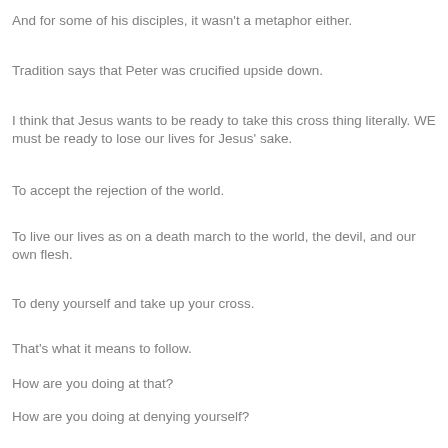And for some of his disciples, it wasn't a metaphor either.
Tradition says that Peter was crucified upside down.
I think that Jesus wants to be ready to take this cross thing literally. WE must be ready to lose our lives for Jesus' sake.
To accept the rejection of the world.
To live our lives as on a death march to the world, the devil, and our own flesh.
To deny yourself and take up your cross.
That's what it means to follow.
How are you doing at that?
How are you doing at denying yourself?
That's not a question that we ask ourselves enough.